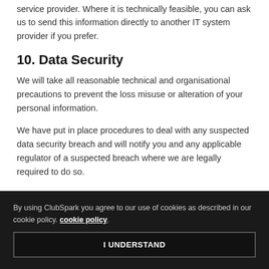service provider. Where it is technically feasible, you can ask us to send this information directly to another IT system provider if you prefer.
10. Data Security
We will take all reasonable technical and organisational precautions to prevent the loss misuse or alteration of your personal information.
We have put in place procedures to deal with any suspected data security breach and will notify you and any applicable regulator of a suspected breach where we are legally required to do so.
By using ClubSpark you agree to our use of cookies as described in our cookie policy. cookie policy.
I UNDERSTAND